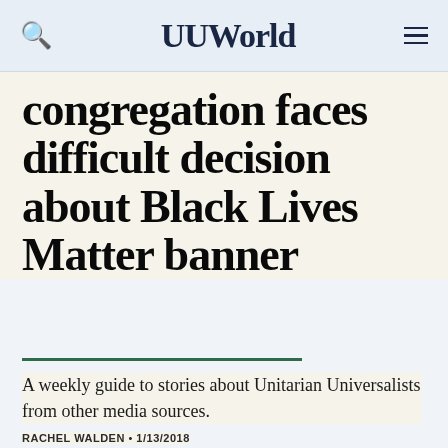UUWorld
congregation faces difficult decision about Black Lives Matter banner
A weekly guide to stories about Unitarian Universalists from other media sources.
RACHEL WALDEN • 1/13/2018
[Figure (illustration): Advertisement banner: 'You're Likely Not a Racist' promotional ad with blue background, red diagonal element, and close button]